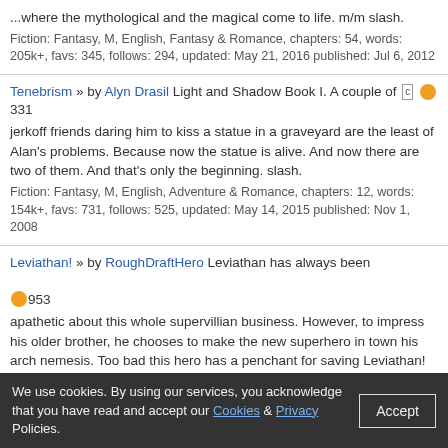...where the mythological and the magical come to life. m/m slash. Fiction: Fantasy, M, English, Fantasy & Romance, chapters: 54, words: 205k+, favs: 345, follows: 294, updated: May 21, 2016 published: Jul 6, 2012
Tenebrism » by Alyn Drasil Light and Shadow Book I. A couple of [c] 331 jerkoff friends daring him to kiss a statue in a graveyard are the least of Alan's problems. Because now the statue is alive. And now there are two of them. And that's only the beginning. slash. Fiction: Fantasy, M, English, Adventure & Romance, chapters: 12, words: 154k+, favs: 731, follows: 525, updated: May 14, 2015 published: Nov 1, 2008
Leviathan! » by RoughDraftHero 953 Leviathan has always been apathetic about this whole supervillian business. However, to impress his older brother, he chooses to make the new superhero in town his arch nemesis. Too bad this hero has a penchant for saving Leviathan! slash Fiction: Romance, T, English, Romance & Fantasy, chapters: 21, words: 79k+, favs: 740, follows: 903, updated: Feb 13, 2015 published: Dec 3, 2011
The Scapegoat » by Don't Look Now But 768 Adolescent demons are the worst-hormones, bloodlust, and a complete lack of self control, all in the same package. Not that the adults are much better. Belial finds this out in his first days at the Academy. YAOI, SLASH Fiction: Fantasy, M, English, Angst & Romance, chapters: 43, words: 203k+, favs: 520, follows: 566, updated: Oct 5, 2014 published: Oct 9, 2009
We use cookies. By using our services, you acknowledge that you have read and accept our Cookies & Privacy Policies.